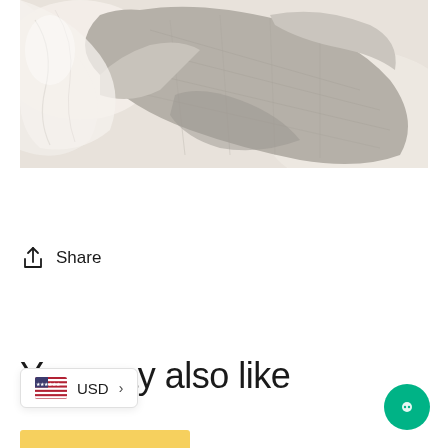[Figure (photo): Close-up photo of layered fabric swatches — sheer white/cream fabric and woven grey linen/textile fabric on a light background]
Share
You may also like
USD >